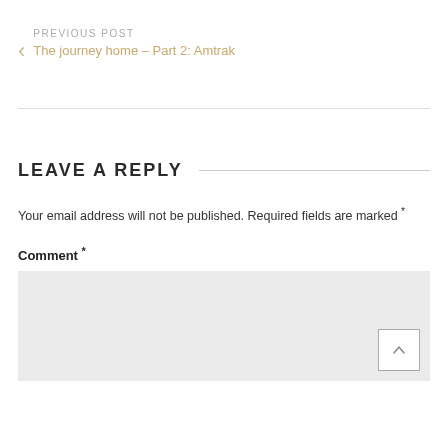PREVIOUS POST
The journey home – Part 2: Amtrak
LEAVE A REPLY
Your email address will not be published. Required fields are marked *
Comment *